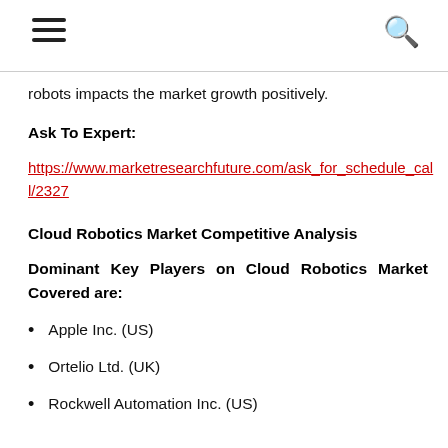robots impacts the market growth positively.
Ask To Expert:
https://www.marketresearchfuture.com/ask_for_schedule_call/2327
Cloud Robotics Market Competitive Analysis
Dominant Key Players on Cloud Robotics Market Covered are:
Apple Inc. (US)
Ortelio Ltd. (UK)
Rockwell Automation Inc. (US)